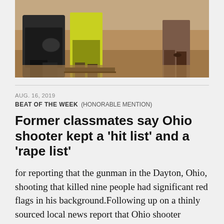[Figure (photo): Partial view of people outdoors on dirt ground, one figure appears to be kneeling with a camera, another in yellow-green vest, and a third figure standing to the right, only lower bodies visible]
AUG. 16, 2019
BEAT OF THE WEEK   (HONORABLE MENTION)
Former classmates say Ohio shooter kept a 'hit list' and a 'rape list'
for reporting that the gunman in the Dayton, Ohio, shooting that killed nine people had significant red flags in his background.Following up on a thinly sourced local news report that Ohio shooter Connor Betts had a hit list in high